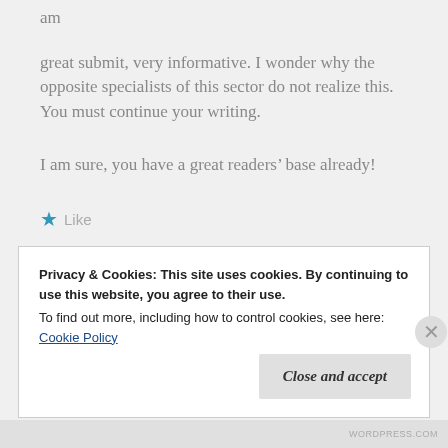am
great submit, very informative. I wonder why the opposite specialists of this sector do not realize this. You must continue your writing.
I am sure, you have a great readers’ base already!
★ Like
Reply
Privacy & Cookies: This site uses cookies. By continuing to use this website, you agree to their use.
To find out more, including how to control cookies, see here: Cookie Policy
Close and accept